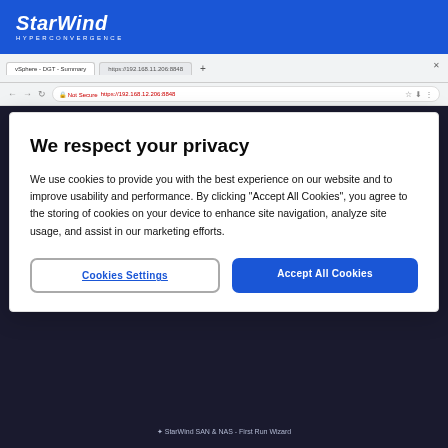StarWind HYPERCONVERGENCE
[Figure (screenshot): Browser screenshot showing StarWind SAN & NAS First Run Wizard with 'Adding disks' step visible, overlaid with a privacy consent dialog.]
We respect your privacy
We use cookies to provide you with the best experience on our website and to improve usability and performance. By clicking "Accept All Cookies", you agree to the storing of cookies on your device to enhance site navigation, analyze site usage, and assist in our marketing efforts.
Cookies Settings
Accept All Cookies